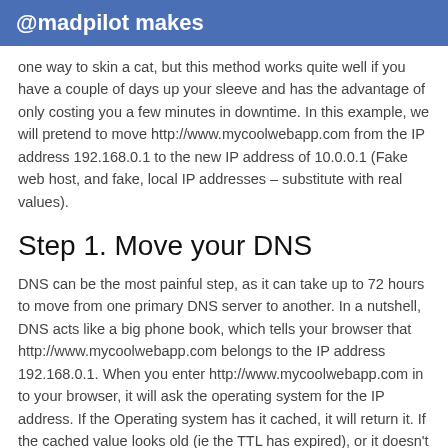@madpilot makes
one way to skin a cat, but this method works quite well if you have a couple of days up your sleeve and has the advantage of only costing you a few minutes in downtime. In this example, we will pretend to move http://www.mycoolwebapp.com from the IP address 192.168.0.1 to the new IP address of 10.0.0.1 (Fake web host, and fake, local IP addresses – substitute with real values).
Step 1. Move your DNS
DNS can be the most painful step, as it can take up to 72 hours to move from one primary DNS server to another. In a nutshell, DNS acts like a big phone book, which tells your browser that http://www.mycoolwebapp.com belongs to the IP address 192.168.0.1. When you enter http://www.mycoolwebapp.com in to your browser, it will ask the operating system for the IP address. If the Operating system has it cached, it will return it. If the cached value looks old (ie the TTL has expired), or it doesn't know about it it will ask a parent DNS server (or root server) where it can find the updated records, and will then